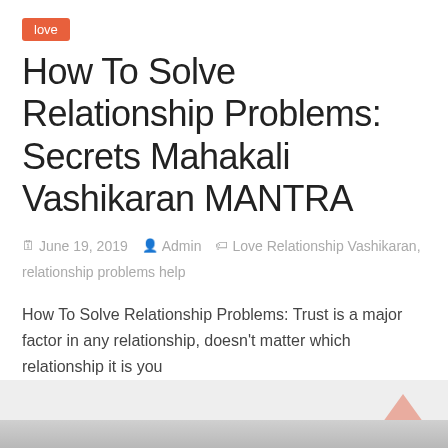love
How To Solve Relationship Problems: Secrets Mahakali Vashikaran MANTRA
June 19, 2019 · Admin · Love Relationship Vashikaran, relationship problems help
How To Solve Relationship Problems: Trust is a major factor in any relationship, doesn't matter which relationship it is you
Read more
[Figure (photo): Gray textured surface photo strip at bottom of page]